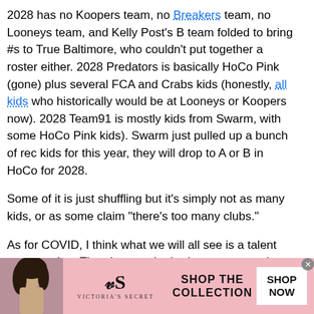2028 has no Koopers team, no Breakers team, no Looneys team, and Kelly Post's B team folded to bring #s to True Baltimore, who couldn't put together a roster either. 2028 Predators is basically HoCo Pink (gone) plus several FCA and Crabs kids (honestly, all kids who historically would be at Looneys or Koopers now). 2028 Team91 is mostly kids from Swarm, with some HoCo Pink kids). Swarm just pulled up a bunch of rec kids for this year, they will drop to A or B in HoCo for 2028.
Some of it is just shuffling but it's simply not as many kids, or as some claim "there's too many clubs."
As for COVID, I think what we will all see is a talent gap erupting. The players who had resources and a work ethic during COVID and whose parents could support/remind/transport kids to lax events (aka "resources") are going to be just fine. That includes club resources, not canceling practices due to COVID shutdowns, kids having access to fields during shutdowns, skills coaches with access to outdoor turf, etc. And for lax, let's remember this includes academic
[Figure (infographic): Victoria's Secret advertisement banner with pink background, featuring a model photo on the left, the Victoria's Secret logo in the center, and 'SHOP THE COLLECTION' text with a 'SHOP NOW' button on the right.]